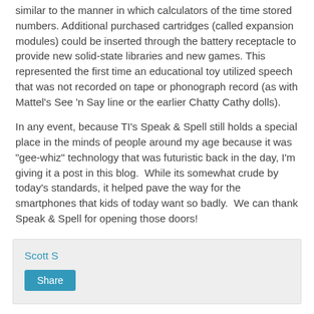similar to the manner in which calculators of the time stored numbers. Additional purchased cartridges (called expansion modules) could be inserted through the battery receptacle to provide new solid-state libraries and new games. This represented the first time an educational toy utilized speech that was not recorded on tape or phonograph record (as with Mattel's See 'n Say line or the earlier Chatty Cathy dolls).
In any event, because TI's Speak & Spell still holds a special place in the minds of people around my age because it was "gee-whiz" technology that was futuristic back in the day, I'm giving it a post in this blog.  While its somewhat crude by today's standards, it helped pave the way for the smartphones that kids of today want so badly.  We can thank Speak & Spell for opening those doors!
Scott S
Share
No comments: